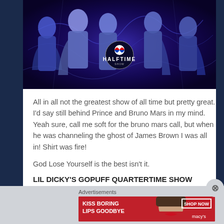[Figure (photo): Pepsi Super Bowl Halftime Show promotional image showing stylized figures in blue/purple tones with a Pepsi Halftime Show logo in the center]
All in all not the greatest show of all time but pretty great. I'd say still behind Prince and Bruno Mars in my mind. Yeah sure, call me soft for the bruno mars call, but when he was channeling the ghost of James Brown I was all in! Shirt was fire!
God Lose Yourself is the best isn't it.
LIL DICKY'S GOPUFF QUARTERTIME SHOW
[Figure (photo): Macy's advertisement banner: KISS BORING LIPS GOODBYE with a woman's face featuring red lips and a SHOP NOW button with Macy's star logo on red background]